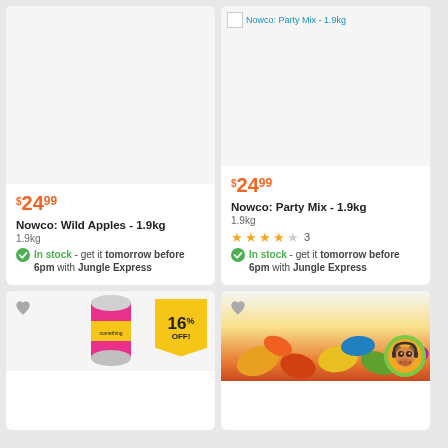[Figure (photo): Product image area for Nowco Wild Apples 1.9kg - blank/empty image placeholder]
$24.99
Nowco: Wild Apples - 1.9kg
1.9kg
In stock - get it tomorrow before 6pm with Jungle Express
[Figure (photo): Product image for Nowco Party Mix 1.9kg with broken image link text: Nowco: Party Mix - 1.9kg]
$24.99
Nowco: Party Mix - 1.9kg
1.9kg
3 stars rating, 3 reviews
In stock - get it tomorrow before 6pm with Jungle Express
[Figure (photo): Bottom left product card with 16% OFF badge and can of drink product image]
[Figure (photo): Bottom right product card with monkey customer service icon and colorful candy image]